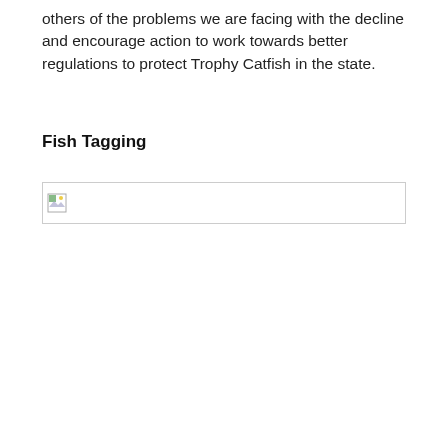others of the problems we are facing with the decline and encourage action to work towards better regulations to protect Trophy Catfish in the state.
Fish Tagging
[Figure (photo): Broken/missing image placeholder shown as a small icon with a border rectangle]